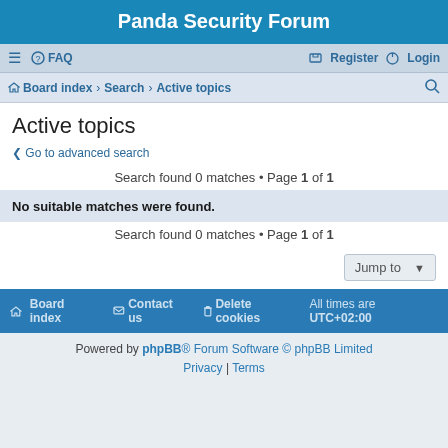Panda Security Forum
≡  FAQ    Register   Login
Board index · Search · Active topics
Active topics
< Go to advanced search
Search found 0 matches • Page 1 of 1
No suitable matches were found.
Search found 0 matches • Page 1 of 1
Jump to
Board index   Contact us   Delete cookies   All times are UTC+02:00
Powered by phpBB® Forum Software © phpBB Limited
Privacy | Terms